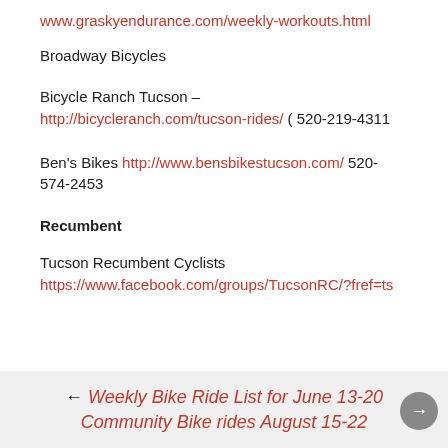www.graskyendurance.com/weekly-workouts.html
Broadway Bicycles
Bicycle Ranch Tucson – http://bicycleranch.com/tucson-rides/  (  520-219-4311
Ben's Bikes http://www.bensbikestucson.com/  520-574-2453
Recumbent
Tucson Recumbent Cyclists
https://www.facebook.com/groups/TucsonRC/?fref=ts
← Weekly Bike Ride List for June 13-20  Community Bike rides August 15-22 →